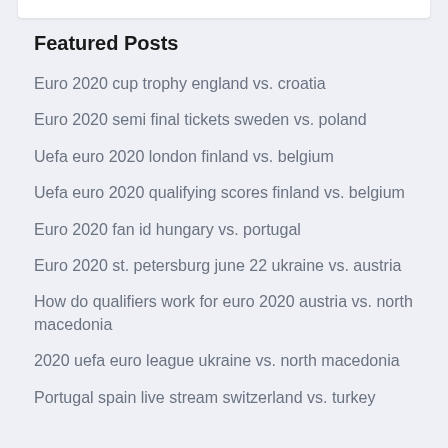Featured Posts
Euro 2020 cup trophy england vs. croatia
Euro 2020 semi final tickets sweden vs. poland
Uefa euro 2020 london finland vs. belgium
Uefa euro 2020 qualifying scores finland vs. belgium
Euro 2020 fan id hungary vs. portugal
Euro 2020 st. petersburg june 22 ukraine vs. austria
How do qualifiers work for euro 2020 austria vs. north macedonia
2020 uefa euro league ukraine vs. north macedonia
Portugal spain live stream switzerland vs. turkey